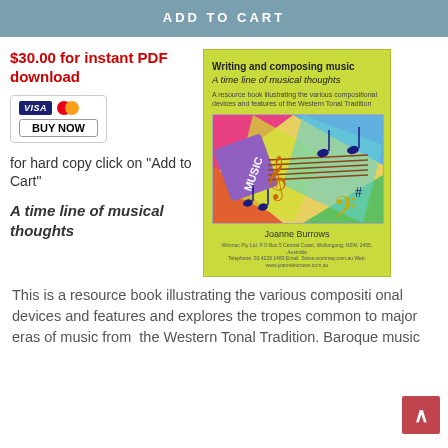ADD TO CART
$30.00 for instant PDF download
[Figure (illustration): Buy Now button with Visa and MasterCard logos]
for hard copy click on "Add to Cart"
A time line of musical thoughts
[Figure (illustration): Book cover: Writing and composing music - A time line of musical thoughts by Joanne Burrows, with colorful music-themed artwork]
This is a resource book illustrating the various compositi onal devices and features and explores the tropes common to major eras of music from  the Western Tonal Tradition. Baroque music